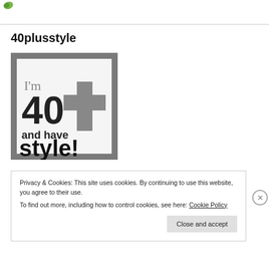[Figure (logo): Small green leaf logo icon in top-left corner]
40plusstyle
[Figure (illustration): Badge image: white square with gray border, text reads 'I'm 40+ and have style!' in decorative black and gray fonts]
Privacy & Cookies: This site uses cookies. By continuing to use this website, you agree to their use.
To find out more, including how to control cookies, see here: Cookie Policy
Close and accept